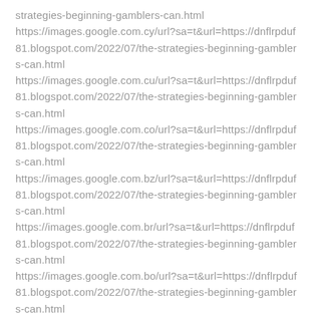strategies-beginning-gamblers-can.html
https://images.google.com.cy/url?sa=t&url=https://dnflrpduf81.blogspot.com/2022/07/the-strategies-beginning-gamblers-can.html
https://images.google.com.cu/url?sa=t&url=https://dnflrpduf81.blogspot.com/2022/07/the-strategies-beginning-gamblers-can.html
https://images.google.com.co/url?sa=t&url=https://dnflrpduf81.blogspot.com/2022/07/the-strategies-beginning-gamblers-can.html
https://images.google.com.bz/url?sa=t&url=https://dnflrpduf81.blogspot.com/2022/07/the-strategies-beginning-gamblers-can.html
https://images.google.com.br/url?sa=t&url=https://dnflrpduf81.blogspot.com/2022/07/the-strategies-beginning-gamblers-can.html
https://images.google.com.bo/url?sa=t&url=https://dnflrpduf81.blogspot.com/2022/07/the-strategies-beginning-gamblers-can.html
https://images.google.com.bn/url?